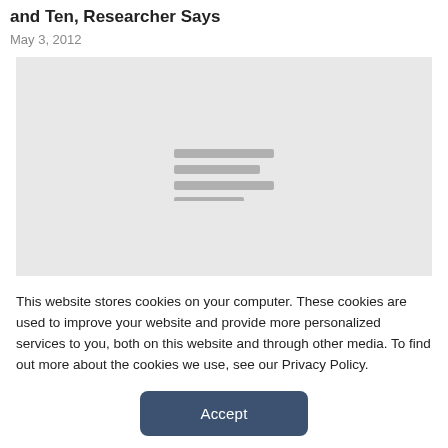and Ten, Researcher Says
May 3, 2012
[Figure (photo): A gray placeholder image with four horizontal lines in the center indicating a loading or broken image state.]
This website stores cookies on your computer. These cookies are used to improve your website and provide more personalized services to you, both on this website and through other media. To find out more about the cookies we use, see our Privacy Policy.
Accept